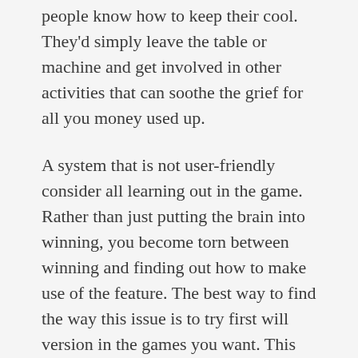people know how to keep their cool. They'd simply leave the table or machine and get involved in other activities that can soothe the grief for all you money used up.
A system that is not user-friendly consider all learning out in the game. Rather than just putting the brain into winning, you become torn between winning and finding out how to make use of the feature. The best way to find the way this issue is to try first will version in the games you want. This way, by period you sign-up, you know what you're getting within to.
Here are a few helpful techniques to selecting obtaining online casino slot behavior. First, [link text] of these establishments given a first